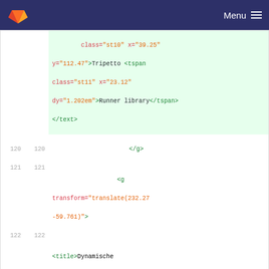Menu
[Figure (screenshot): GitLab diff view showing SVG code changes with line numbers. Lines show class='st10' x='39.25' y='112.47'>Tripetto <tspan class='st11' x='23.12' dy='1.202em'>Runner library</tspan></text> followed by lines 120-122 showing </g> and <g transform='translate(232.27 -59.761)'> and <title>Dynamische verbindingslijn.8</title>]
src/images/diagrams/collector.svg → src/images/diagrams/runner.svg
[Figure (screenshot): Diff hunk header showing @@ -68,12 +68,12 @@ and line 68 68 with <title>Pagina-1</title>]